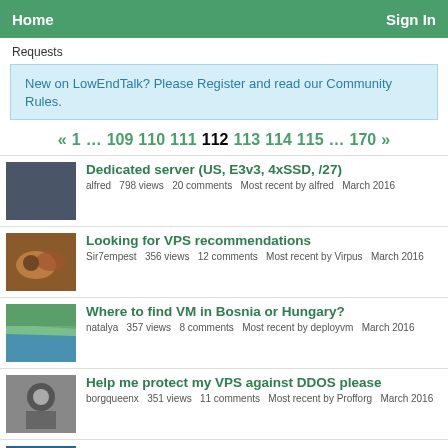Home | Sign In
Requests
New on LowEndTalk? Please Register and read our Community Rules.
« 1 … 109 110 111 112 113 114 115 … 170 »
Dedicated server (US, E3v3, 4xSSD, /27) — alfred 798 views 20 comments Most recent by alfred March 2016
Looking for VPS recommendations — Sir7empest 356 views 12 comments Most recent by Virpus March 2016
Where to find VM in Bosnia or Hungary? — natalya 357 views 8 comments Most recent by deployvm March 2016
Help me protect my VPS against DDOS please — borgqueenx 351 views 11 comments Most recent by Profforg March 2016
$10-15/mo US/EU Dedicated Server/Storage VPS — Sirus 636 views 13 comments Most recent by NickMNXio March 2016
need small seedbox